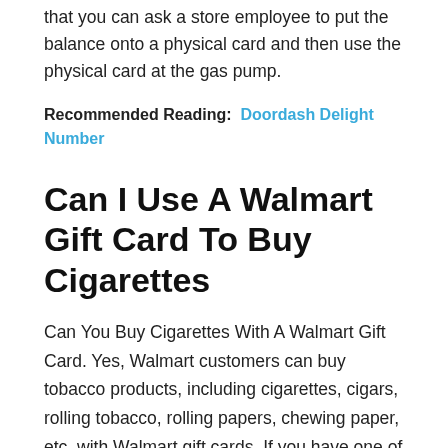that you can ask a store employee to put the balance onto a physical card and then use the physical card at the gas pump.
Recommended Reading:  Doordash Delight Number
Can I Use A Walmart Gift Card To Buy Cigarettes
Can You Buy Cigarettes With A Walmart Gift Card. Yes, Walmart customers can buy tobacco products, including cigarettes, cigars, rolling tobacco, rolling papers, chewing paper, etc, with Walmart gift cards. If you have one of these, it will clearly state on the front This gift card cannot be used to purchase tobacco.
Can You Spend Walmart Gift